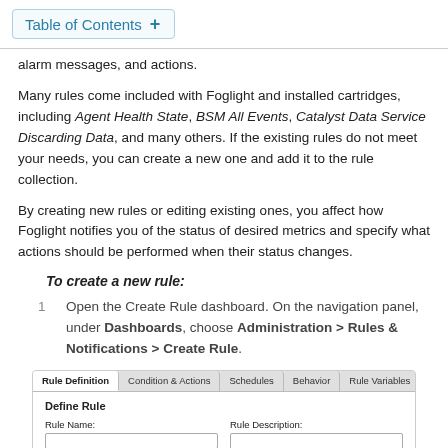Table of Contents +
alarm messages, and actions.
Many rules come included with Foglight and installed cartridges, including Agent Health State, BSM All Events, Catalyst Data Service Discarding Data, and many others. If the existing rules do not meet your needs, you can create a new one and add it to the rule collection.
By creating new rules or editing existing ones, you affect how Foglight notifies you of the status of desired metrics and specify what actions should be performed when their status changes.
To create a new rule:
Open the Create Rule dashboard. On the navigation panel, under Dashboards, choose Administration > Rules & Notifications > Create Rule.
[Figure (screenshot): Screenshot of the Create Rule dashboard showing tabs: Rule Definition (active), Condition & Actions, Schedules, Behavior, Rule Variables. Below is a 'Define Rule' form with fields: Rule Name (text input), Rule Description (textarea), and Rule Type.]